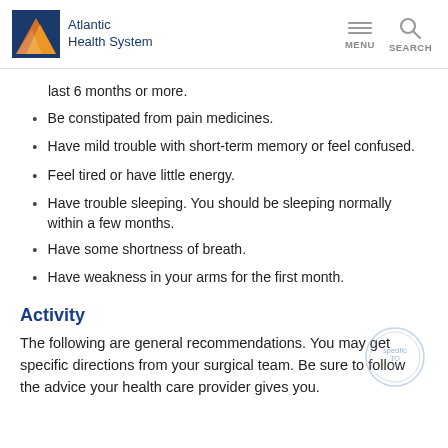Atlantic Health System
last 6 months or more.
Be constipated from pain medicines.
Have mild trouble with short-term memory or feel confused.
Feel tired or have little energy.
Have trouble sleeping. You should be sleeping normally within a few months.
Have some shortness of breath.
Have weakness in your arms for the first month.
Activity
The following are general recommendations. You may get specific directions from your surgical team. Be sure to follow the advice your health care provider gives you.